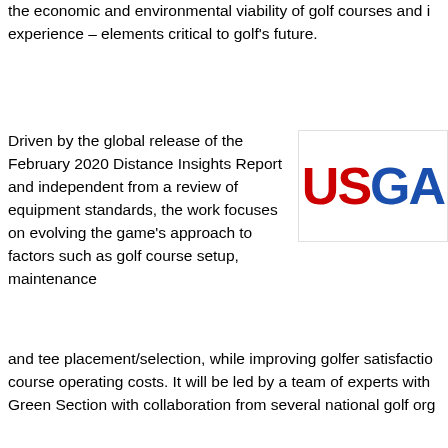the economic and environmental viability of golf courses and i experience – elements critical to golf's future.
[Figure (logo): USGA logo with red 'US' and blue 'GA' lettering]
Driven by the global release of the February 2020 Distance Insights Report and independent from a review of equipment standards, the work focuses on evolving the game's approach to factors such as golf course setup, maintenance and tee placement/selection, while improving golfer satisfactio course operating costs. It will be led by a team of experts with Green Section with collaboration from several national golf org
"This critical work has implications for the entire game – from architects to course operators, as we come together to solve g including the present and future availability of land, increasing and the growing capital costs owners face as they feel the pre their golf courses," said Mike Davis, CEO of the USGA.
Over time, the work will mature into industry-wide recommend management practices designed to serve and benefit golf co